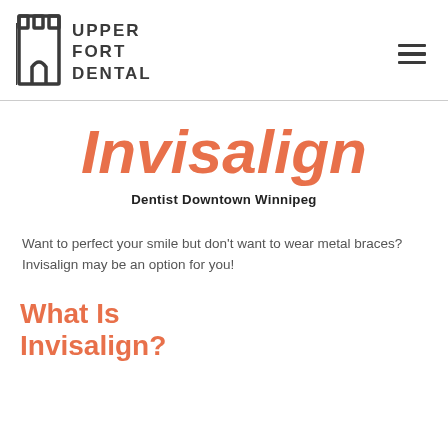Upper Fort Dental
Invisalign
Dentist Downtown Winnipeg
Want to perfect your smile but don't want to wear metal braces? Invisalign may be an option for you!
What Is Invisalign?